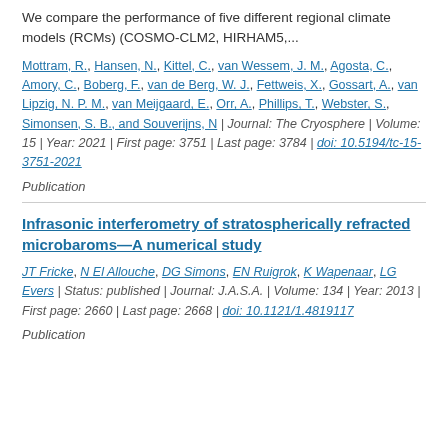We compare the performance of five different regional climate models (RCMs) (COSMO-CLM2, HIRHAM5,...
Mottram, R., Hansen, N., Kittel, C., van Wessem, J. M., Agosta, C., Amory, C., Boberg, F., van de Berg, W. J., Fettweis, X., Gossart, A., van Lipzig, N. P. M., van Meijgaard, E., Orr, A., Phillips, T., Webster, S., Simonsen, S. B., and Souverijns, N | Journal: The Cryosphere | Volume: 15 | Year: 2021 | First page: 3751 | Last page: 3784 | doi: 10.5194/tc-15-3751-2021
Publication
Infrasonic interferometry of stratospherically refracted microbaroms—A numerical study
JT Fricke, N El Allouche, DG Simons, EN Ruigrok, K Wapenaar, LG Evers | Status: published | Journal: J.A.S.A. | Volume: 134 | Year: 2013 | First page: 2660 | Last page: 2668 | doi: 10.1121/1.4819117
Publication